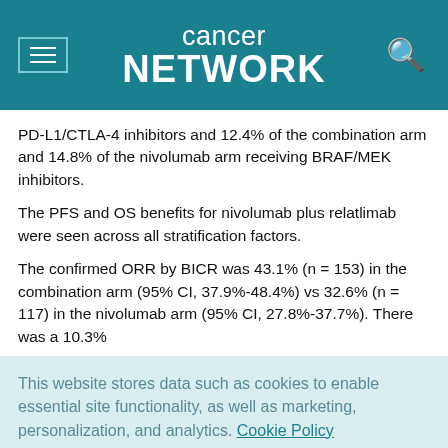Cancer Network
PD-L1/CTLA-4 inhibitors and 12.4% of the combination arm and 14.8% of the nivolumab arm receiving BRAF/MEK inhibitors.
The PFS and OS benefits for nivolumab plus relatlimab were seen across all stratification factors.
The confirmed ORR by BICR was 43.1% (n = 153) in the combination arm (95% CI, 37.9%-48.4%) vs 32.6% (n = 117) in the nivolumab arm (95% CI, 27.8%-37.7%). There was a 10.3%
This website stores data such as cookies to enable essential site functionality, as well as marketing, personalization, and analytics. Cookie Policy
Accept
Deny